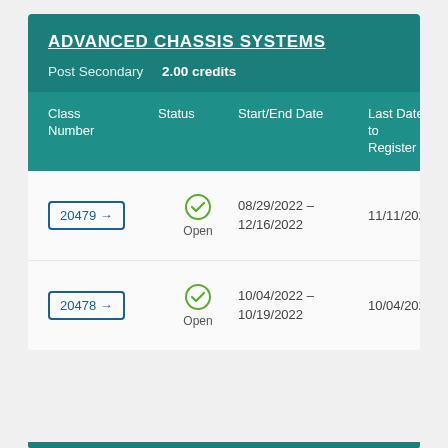ADVANCED CHASSIS SYSTEMS
Post Secondary   2.00 credits
| Class Number | Status | Start/End Date | Last Date to Register |
| --- | --- | --- | --- |
| 20479 → | Open | 08/29/2022 – 12/16/2022 | 11/11/2022 |
| 20478 → | Open | 10/04/2022 – 10/19/2022 | 10/04/2022 |